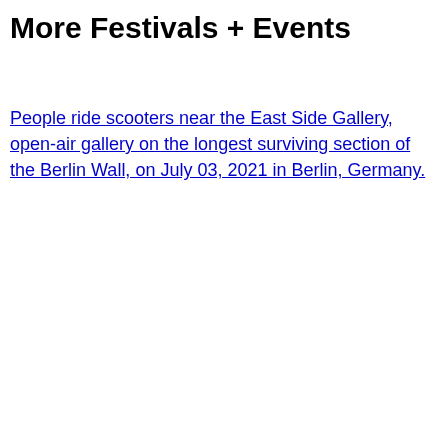More Festivals + Events
People ride scooters near the East Side Gallery, open-air gallery on the longest surviving section of the Berlin Wall, on July 03, 2021 in Berlin, Germany.